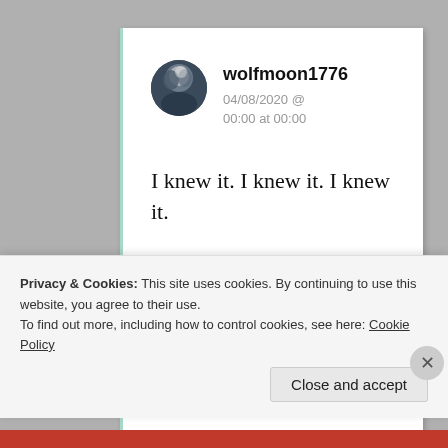wolfmoon1776
04/08/2020 @ 00:00 at 00:00
I knew it. I knew it. I knew it.
It’s hilarious. The
Privacy & Cookies: This site uses cookies. By continuing to use this website, you agree to their use.
To find out more, including how to control cookies, see here: Cookie Policy
Close and accept